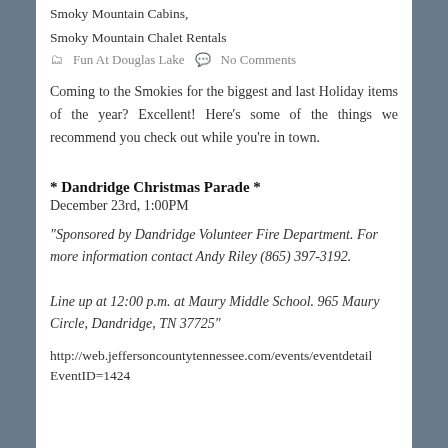Smoky Mountain Cabins,
Smoky Mountain Chalet Rentals
🗂 Fun At Douglas Lake  💬 No Comments
Coming to the Smokies for the biggest and last Holiday items of the year? Excellent! Here's some of the things we recommend you check out while you're in town.
* Dandridge Christmas Parade *
December 23rd, 1:00PM
"Sponsored by Dandridge Volunteer Fire Department. For more information contact Andy Riley (865) 397-3192.

Line up at 12:00 p.m. at Maury Middle School. 965 Maury Circle, Dandridge, TN 37725"
http://web.jeffersoncountytennessee.com/events/eventdetail EventID=1424